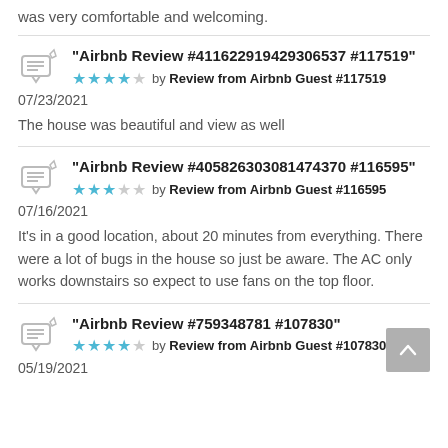was very comfortable and welcoming.
"Airbnb Review #411622919429306537 #117519"
★★★★☆ by Review from Airbnb Guest #117519
07/23/2021
The house was beautiful and view as well
"Airbnb Review #405826303081474370 #116595"
★★★☆☆ by Review from Airbnb Guest #116595
07/16/2021
It's in a good location, about 20 minutes from everything. There were a lot of bugs in the house so just be aware. The AC only works downstairs so expect to use fans on the top floor.
"Airbnb Review #759348781 #107830"
★★★★☆ by Review from Airbnb Guest #107830
05/19/2021